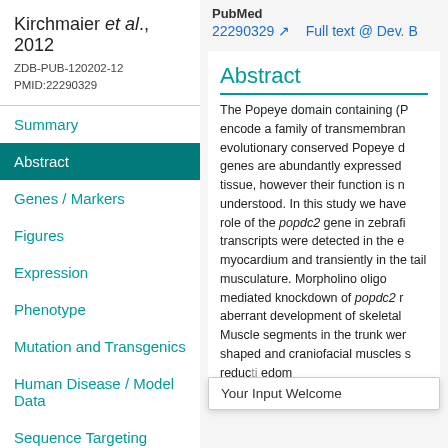Kirchmaier et al., 2012
ZDB-PUB-120202-12
PMID:22290329
Summary
Abstract
Genes / Markers
Figures
Expression
Phenotype
Mutation and Transgenics
Human Disease / Model Data
Sequence Targeting Reagents
PubMed
22290329  Full text @ Dev. B
Abstract
The Popeye domain containing (P encode a family of transmembran evolutionary conserved Popeye d genes are abundantly expressed tissue, however their function is n understood. In this study we have role of the popdc2 gene in zebrafi transcripts were detected in the e myocardium and transiently in the tail musculature. Morpholino oligo mediated knockdown of popdc2 r aberrant development of skeletal Muscle segments in the trunk wer shaped and craniofacial muscles s reduc edoma
Your Input Welcome